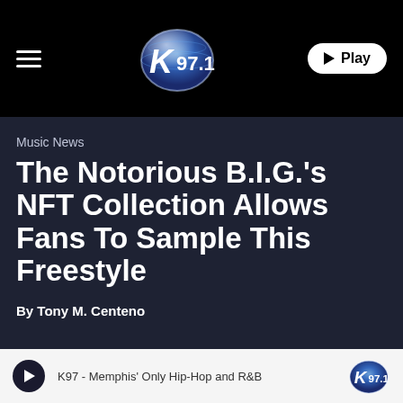[Figure (logo): K97.1 radio station logo and navigation bar with hamburger menu, K97.1 logo, and Play button on black background]
Music News
The Notorious B.I.G.'s NFT Collection Allows Fans To Sample This Freestyle
By Tony M. Centeno
K97 - Memphis' Only Hip-Hop and R&B